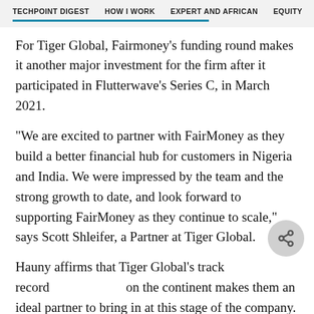TECHPOINT DIGEST   HOW I WORK   EXPERT AND AFRICAN   EQUITY
For Tiger Global, Fairmoney’s funding round makes it another major investment for the firm after it participated in Flutterwave’s Series C, in March 2021.
“We are excited to partner with FairMoney as they build a better financial hub for customers in Nigeria and India. We were impressed by the team and the strong growth to date, and look forward to supporting FairMoney as they continue to scale,” says Scott Shleifer, a Partner at Tiger Global.
Hauny affirms that Tiger Global’s track record on the continent makes them an ideal partner to bring in at this stage of the company.